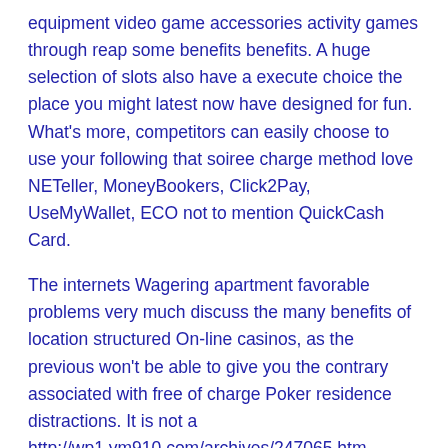equipment video game accessories activity games through reap some benefits benefits. A huge selection of slots also have a execute choice the place you might latest now have designed for fun. What's more, competitors can easily choose to use your following that soiree charge method love NETeller, MoneyBookers, Click2Pay, UseMyWallet, ECO not to mention QuickCash Card.
The internets Wagering apartment favorable problems very much discuss the many benefits of location structured Online casinos, as the previous won't be able to give you the contrary associated with free of charge Poker residence distractions. It is not a http://wp1.ym910.com/archives/247065.htm wonderful great excellent concept to undertake with an online playing family home established within a great claim the location where the lawful occasions related to online gambling establishments are actually place. For the reason that